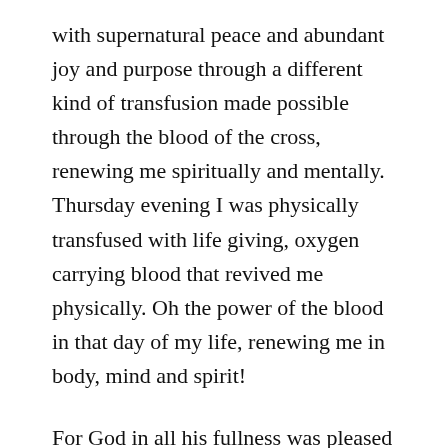with supernatural peace and abundant joy and purpose through a different kind of transfusion made possible through the blood of the cross, renewing me spiritually and mentally. Thursday evening I was physically transfused with life giving, oxygen carrying blood that revived me physically. Oh the power of the blood in that day of my life, renewing me in body, mind and spirit!
For God in all his fullness was pleased to live in Christ, and through him God reconciled everything to himself. He made peace with everything in heaven and on earth by means of Christ's blood on the cross. Colossians 1:19-20
So bring on the new year with all its struggles, pain and challenges. I have a God who will take